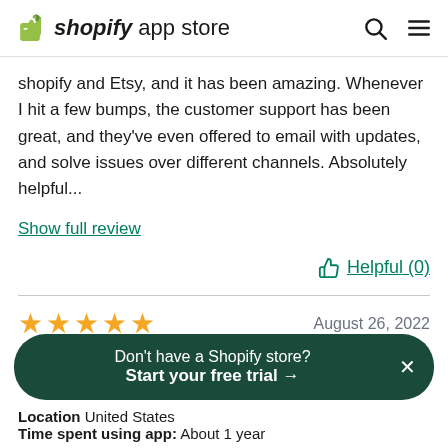shopify app store
shopify and Etsy, and it has been amazing. Whenever I hit a few bumps, the customer support has been great, and they've even offered to email with updates, and solve issues over different channels. Absolutely helpful...
Show full review
Helpful (0)
August 26, 2022
Don't have a Shopify store? Start your free trial →
Location United States
Time spent using app: About 1 year